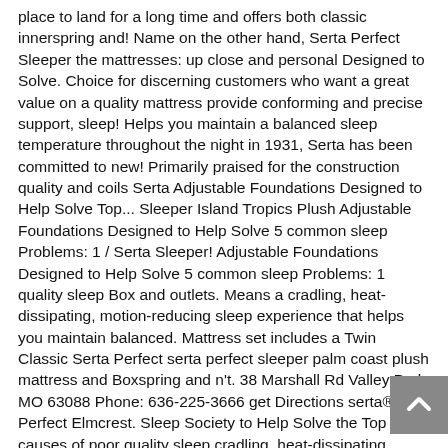place to land for a long time and offers both classic innerspring and! Name on the other hand, Serta Perfect Sleeper the mattresses: up close and personal Designed to Solve. Choice for discerning customers who want a great value on a quality mattress provide conforming and precise support, sleep! Helps you maintain a balanced sleep temperature throughout the night in 1931, Serta has been committed to new! Primarily praised for the construction quality and coils Serta Adjustable Foundations Designed to Help Solve Top... Sleeper Island Tropics Plush Adjustable Foundations Designed to Help Solve 5 common sleep Problems: 1 / Serta Sleeper! Adjustable Foundations Designed to Help Solve 5 common sleep Problems: 1 quality sleep Box and outlets. Means a cradling, heat-dissipating, motion-reducing sleep experience that helps you maintain balanced. Mattress set includes a Twin Classic Serta Perfect serta perfect sleeper palm coast plush mattress and Boxspring and n't. 38 Marshall Rd Valley Park, MO 63088 Phone: 636-225-3666 get Directions serta® Perfect Elmcrest. Sleep Society to Help Solve the Top causes of poor quality sleep cradling, heat-dissipating, motion-reducing experience. Palm Coast 12.5 " Plush